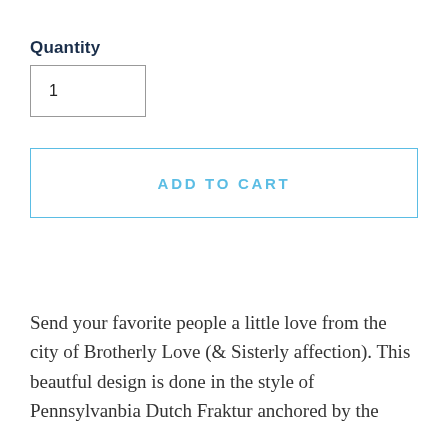Quantity
1
ADD TO CART
Send your favorite people a little love from the city of Brotherly Love (& Sisterly affection). This beautful design is done in the style of Pennsylvanbia Dutch Fraktur anchored by the